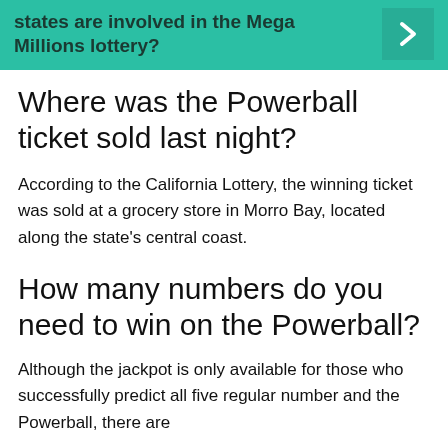[Figure (other): Teal banner with text 'states are involved in the Mega Millions lottery?' and a right-pointing arrow on the right side]
Where was the Powerball ticket sold last night?
According to the California Lottery, the winning ticket was sold at a grocery store in Morro Bay, located along the state's central coast.
How many numbers do you need to win on the Powerball?
Although the jackpot is only available for those who successfully predict all five regular number and the Powerball, there are